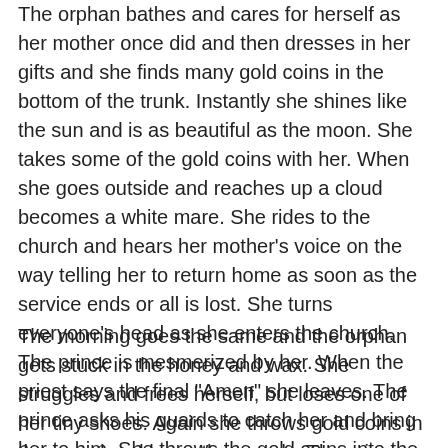The orphan bathes and cares for herself as her mother once did and then dresses in her gifts and she finds many gold coins in the bottom of the trunk. Instantly she shines like the sun and is as beautiful as the moon. She takes some of the gold coins with her. When she goes outside and reaches up a cloud becomes a white mare. She rides to the church and hears her mother's voice on the way telling her to return home as soon as the service ends or all is lost. She turns everyone's head as she enters the church. The prince is mesmerized by her. When the priest says the final "Amen" she leaves. The prince asks his guards to catch her and bring her to him. She throws the gold coins into the crowd and escapes. The prince inconsolable that week, but decides to return the following Sunday and tells his guards to have the beekeepers prepare some honey and wax for them to put on the step when the service is about to end.
The morning goes the same and the orphan gets stuck in the honey and wax. She struggles and frees herself, but loses one of her tiny shoes. Again she throws gold coins in the crowd and loses the guards. The prince decrees that all the maidens of the village must come to the palace to try on the